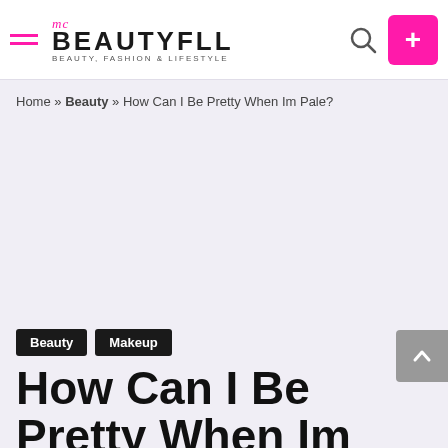BEAUTYFLL — BEAUTY, FASHION & LIFESTYLE
Home » Beauty » How Can I Be Pretty When Im Pale?
Beauty
Makeup
How Can I Be Pretty When Im